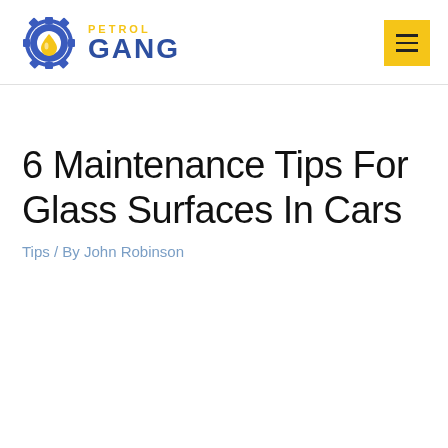[Figure (logo): Petrol Gang logo with gear and oil drop icon, yellow and blue text]
6 Maintenance Tips For Glass Surfaces In Cars
Tips / By John Robinson